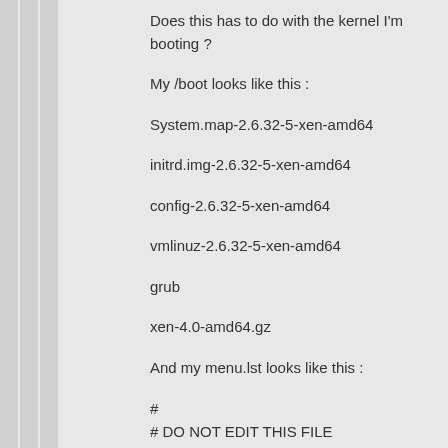Does this has to do with the kernel I'm booting ?
My /boot looks like this :
System.map-2.6.32-5-xen-amd64
initrd.img-2.6.32-5-xen-amd64
config-2.6.32-5-xen-amd64
vmlinuz-2.6.32-5-xen-amd64
grub
xen-4.0-amd64.gz
And my menu.lst looks like this :
#
# DO NOT EDIT THIS FILE
#
# It is automatically generated by grub-mkconfig using templates
# from /etc/grub.d and settings from /etc/default/grub
#